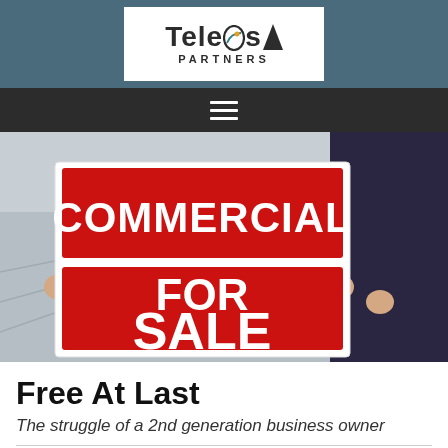[Figure (logo): Teleos Partners logo — white rectangular box with teal road-perspective icon in the letter O, bold text 'Teleos' and smaller 'PARTNERS' below, set against a teal/grey header bar]
[Figure (photo): Person holding a large commercial real estate sign reading 'COMMERCIAL FOR SALE' in bold white text on red background with white border, outdoor parking lot setting]
Free At Last
The struggle of a 2nd generation business owner